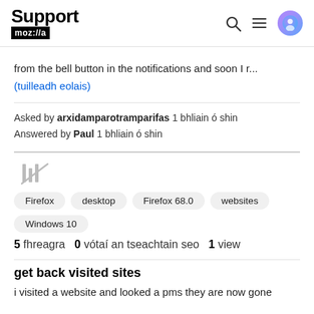Support moz://a
from the bell button in the notifications and soon I r...
(tuilleadh eolais)
Asked by arxidamparotramparifas 1 bhliain ó shin
Answered by Paul 1 bhliain ó shin
[Figure (other): Library/bookmark icon (vertical bars symbol)]
Firefox
desktop
Firefox 68.0
websites
Windows 10
5 fhreagra  0 vótaí an tseachtain seo  1 view
get back visited sites
i visited a website and looked a pms they are now gone